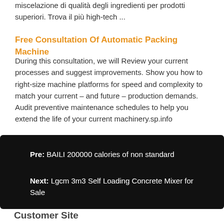miscelazione di qualità degli ingredienti per prodotti superiori. Trova il più high-tech ...
Free Consultation Of Automatic Packing Machine
During this consultation, we will Review your current processes and suggest improvements. Show you how to right-size machine platforms for speed and complexity to match your current – and future – production demands. Audit preventive maintenance schedules to help you extend the life of your current machinery.sp.info
Pre: BAILI 200000 calories of non standard
Next: Lgcm 3m3 Self Loading Concrete Mixer for Sale
Customer Site